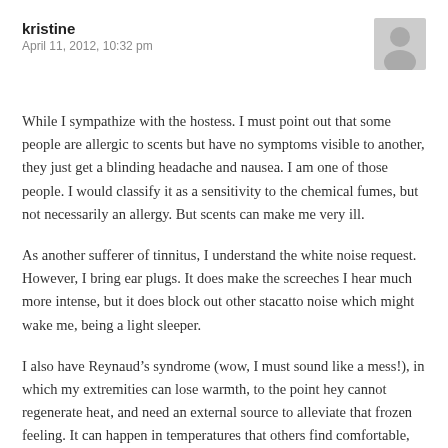kristine
April 11, 2012, 10:32 pm
[Figure (illustration): Gray default user avatar silhouette icon]
While I sympathize with the hostess. I must point out that some people are allergic to scents but have no symptoms visible to another, they just get a blinding headache and nausea. I am one of those people. I would classify it as a sensitivity to the chemical fumes, but not necessarily an allergy. But scents can make me very ill.
As another sufferer of tinnitus, I understand the white noise request. However, I bring ear plugs. It does make the screeches I hear much more intense, but it does block out other stacatto noise which might wake me, being a light sleeper.
I also have Reynaud’s syndrome (wow, I must sound like a mess!), in which my extremities can lose warmth, to the point hey cannot regenerate heat, and need an external source to alleviate that frozen feeling. It can happen in temperatures that others find comfortable, and sometimes I